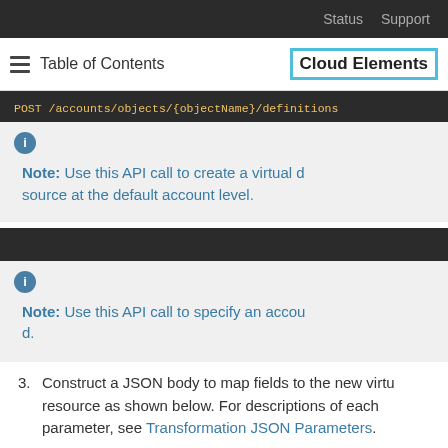Status  Support
≡  Table of Contents   Cloud Elements
POST /accounts/objects/{objectName}/definitions
Note: Use this API call to create a virtual data source at the default account level.
Note: Use this API call to specify an account d.
3. Construct a JSON body to map fields to the new virtual resource as shown below. For descriptions of each parameter, see Transformation JSON Parameters.